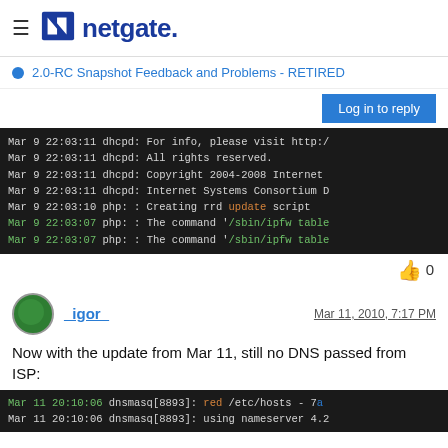≡  netgate.
2.0-RC Snapshot Feedback and Problems - RETIRED
Log in to reply
[Figure (screenshot): Terminal/log output showing dhcpd and php log lines with timestamps around Mar 9 22:03]
👍  0
_igor_  Mar 11, 2010, 7:17 PM
Now with the update from Mar 11, still no DNS passed from ISP:
[Figure (screenshot): Terminal/log output showing dnsmasq log lines with timestamps around Mar 11 20:10:06]